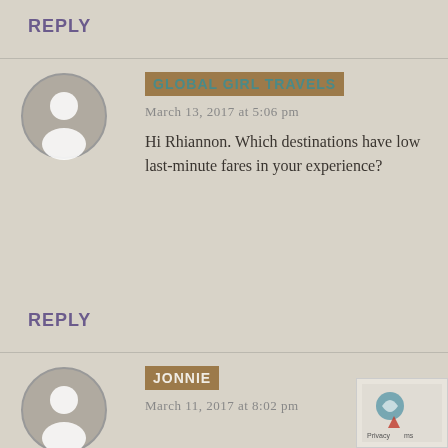REPLY
[Figure (illustration): Grey circular avatar with white silhouette person icon]
GLOBAL GIRL TRAVELS
March 13, 2017 at 5:06 pm
Hi Rhiannon. Which destinations have low last-minute fares in your experience?
REPLY
[Figure (illustration): Grey circular avatar with white silhouette person icon]
JONNIE
March 11, 2017 at 8:02 pm